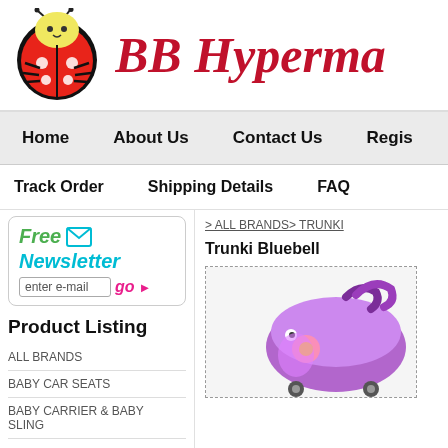[Figure (logo): Ladybug cartoon logo for BB Hypermarket]
BB Hyperma…
Home | About Us | Contact Us | Regis…
Track Order | Shipping Details | FAQ
[Figure (infographic): Free Newsletter signup box with email input and go button]
Product Listing
ALL BRANDS
BABY CAR SEATS
BABY CARRIER & BABY SLING
> ALL BRANDS> TRUNKI
Trunki Bluebell
[Figure (photo): Purple Trunki Bluebell children's ride-on suitcase]